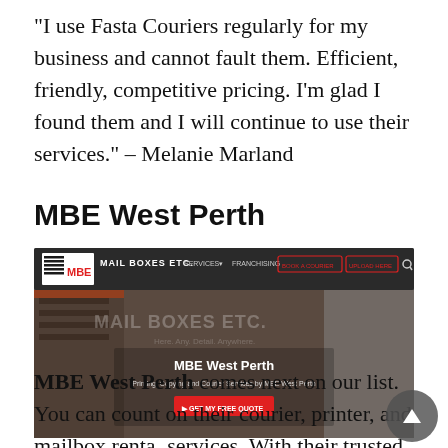“I use Fasta Couriers regularly for my business and cannot fault them. Efficient, friendly, competitive pricing. I’m glad I found them and I will continue to use their services.” – Melanie Marland
MBE West Perth
[Figure (screenshot): Screenshot of the MBE West Perth website showing the Mail Boxes Etc. header with navigation links (SERVICES, FRANCHISING, BOOK A COURIER, UPLOAD HERE, search icon), a background image of the MBE storefront/shelves, and a central panel with the text 'MBE West Perth', subtitle 'Printing, Copying and Courier Services by MBE West Perth', and a red 'GET MY FREE QUOTE' button.]
MBE West Perth comes next on our list. You can count on their courier, printer, and mailbox rental services. With their trusted services, they can send